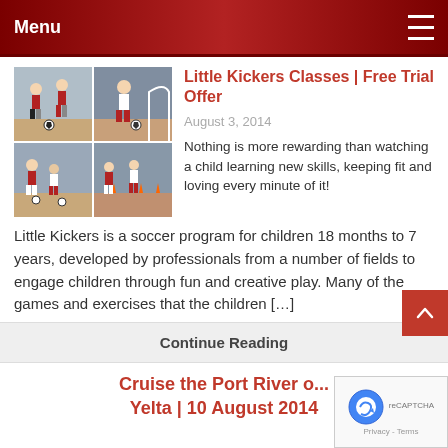Menu
[Figure (photo): Grid of four photos showing children playing soccer/football indoors, wearing red and white uniforms]
Little Kickers Classes | Free Trial Offer
August 3, 2014
Nothing is more rewarding than watching a child learning new skills, keeping fit and loving every minute of it!
Little Kickers is a soccer program for children 18 months to 7 years, developed by professionals from a number of fields to engage children through fun and creative play. Many of the games and exercises that the children […]
Continue Reading
Cruise the Port River o... Yelta | 10 August 2014